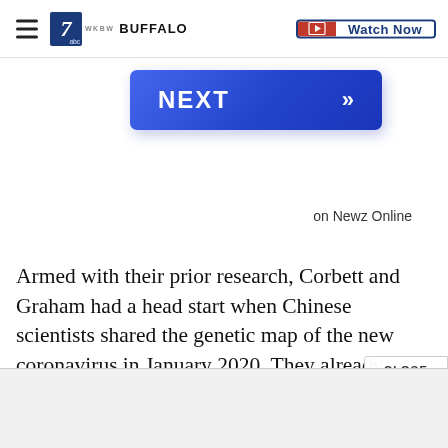7 WEEN BUFFALO — Watch Now
[Figure (screenshot): NEXT button with double chevron arrows, blue gradient background]
on Newz Online
Armed with their prior research, Corbett and Graham had a head start when Chinese scientists shared the genetic map of the new coronavirus in January 2020. They already knew how to make spike proteins, w
[Figure (other): CLOSE button overlay with X icon]